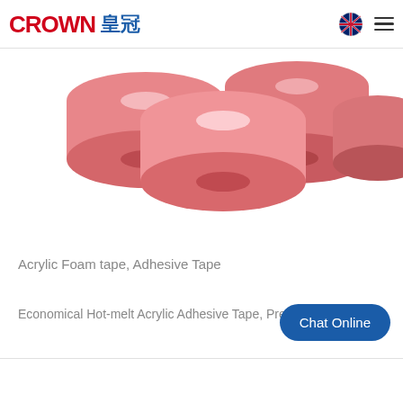CROWN 皇冠
[Figure (photo): Pink/red acrylic foam adhesive tape rolls arranged on a white background, viewed from above slightly at an angle. Multiple cylindrical rolls of pink double-sided tape are visible.]
Acrylic Foam tape, Adhesive Tape
Economical Hot-melt Acrylic Adhesive Tape, Pres...
Chat Online